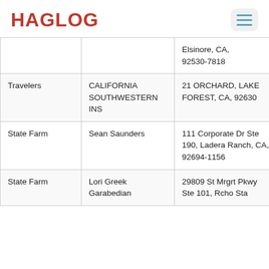HAGLOG
| Insurer | Agent | Address |  |
| --- | --- | --- | --- |
|  |  | Elsinore, CA, 92530-7818 |  |
| Travelers | CALIFORNIA SOUTHWESTERN INS | 21 ORCHARD, LAKE FOREST, CA, 92630 | NA |
| State Farm | Sean Saunders | 111 Corporate Dr Ste 190, Ladera Ranch, CA, 92694-1156 | NA |
| State Farm | Lori Greek Garabedian | 29809 St Mrgrt Pkwy Ste 101, Rcho Sta | NA |